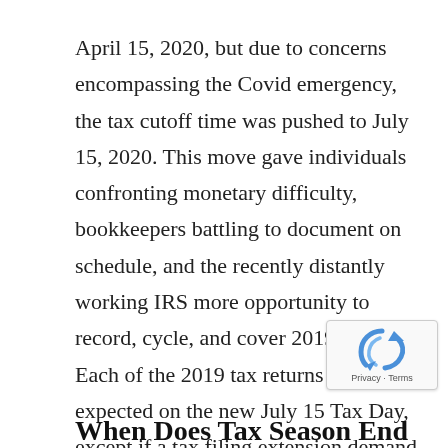April 15, 2020, but due to concerns encompassing the Covid emergency, the tax cutoff time was pushed to July 15, 2020. This move gave individuals confronting monetary difficulty, bookkeepers battling to document on schedule, and the recently distantly working IRS more opportunity to record, cycle, and cover 2019 taxes. Each of the 2019 tax returns will be expected on the new July 15 Tax Day, except if a tax filing extension demand has been submitted. Taxes can in any case be documented on Tax Day, yet it is in every case best to try not to turn into a very late duty filer.
[Figure (other): reCAPTCHA badge with Privacy - Terms text]
When Does Tax Season End